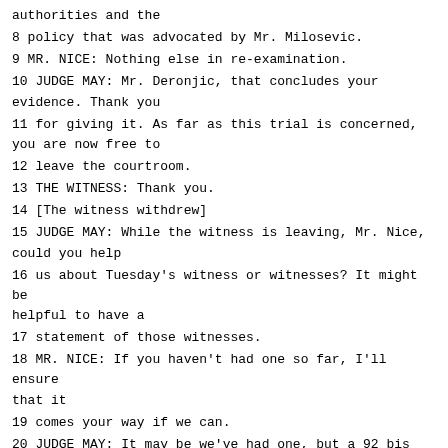authorities and the
8 policy that was advocated by Mr. Milosevic.
9 MR. NICE: Nothing else in re-examination.
10 JUDGE MAY: Mr. Deronjic, that concludes your evidence. Thank you
11 for giving it. As far as this trial is concerned, you are now free to
12 leave the courtroom.
13 THE WITNESS: Thank you.
14 [The witness withdrew]
15 JUDGE MAY: While the witness is leaving, Mr. Nice, could you help
16 us about Tuesday's witness or witnesses? It might be helpful to have a
17 statement of those witnesses.
18 MR. NICE: If you haven't had one so far, I'll ensure that it
19 comes your way if we can.
20 JUDGE MAY: It may be we've had one, but a 92 bis